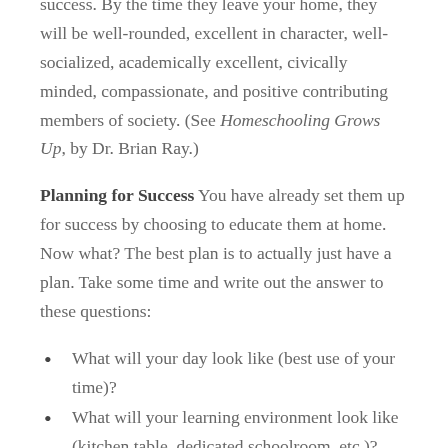success. By the time they leave your home, they will be well-rounded, excellent in character, well- socialized, academically excellent, civically minded, compassionate, and positive contributing members of society. (See Homeschooling Grows Up, by Dr. Brian Ray.)
Planning for Success You have already set them up for success by choosing to educate them at home. Now what? The best plan is to actually just have a plan. Take some time and write out the answer to these questions:
What will your day look like (best use of your time)?
What will your learning environment look like (kitchen table, dedicated schoolroom, etc.)?